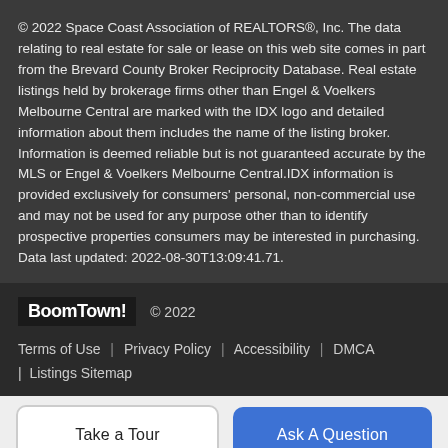© 2022 Space Coast Association of REALTORS®, Inc. The data relating to real estate for sale or lease on this web site comes in part from the Brevard County Broker Reciprocity Database. Real estate listings held by brokerage firms other than Engel & Voelkers Melbourne Central are marked with the IDX logo and detailed information about them includes the name of the listing broker. Information is deemed reliable but is not guaranteed accurate by the MLS or Engel & Voelkers Melbourne Central.IDX information is provided exclusively for consumers' personal, non-commercial use and may not be used for any purpose other than to identify prospective properties consumers may be interested in purchasing. Data last updated: 2022-08-30T13:09:41.71.
BoomTown! © 2022
Terms of Use | Privacy Policy | Accessibility | DMCA | Listings Sitemap
Take a Tour
Ask A Question